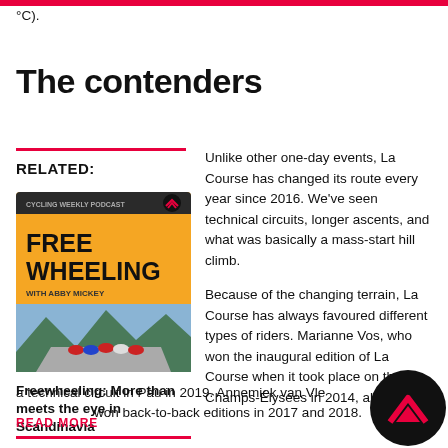es should be around 60°F (17°C).
The contenders
RELATED:
[Figure (photo): Book cover for 'Freewheeling with Abby Mickey' showing cyclists on a road with mountains behind, orange background]
Freewheeling: More than meets the eye in Scandinavia
READ MORE
Unlike other one-day events, La Course has changed its route every year since 2016. We've seen technical circuits, longer ascents, and what was basically a mass-start hill climb.

Because of the changing terrain, La Course has always favoured different types of riders. Marianne Vos, who won the inaugural edition of La Course when it took place on the Champs-Élysées in 2014, also won a technical circuit in Pau in 2019. Annemiek van Vleuten won back-to-back editions in 2017 and 2018.
[Figure (logo): Cycling Weekly logo — dark circle with stylized red mountain/chevron mark]